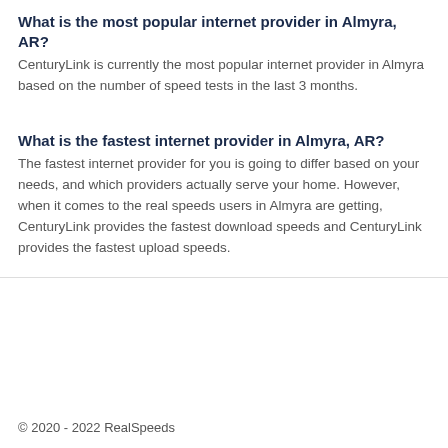What is the most popular internet provider in Almyra, AR?
CenturyLink is currently the most popular internet provider in Almyra based on the number of speed tests in the last 3 months.
What is the fastest internet provider in Almyra, AR?
The fastest internet provider for you is going to differ based on your needs, and which providers actually serve your home. However, when it comes to the real speeds users in Almyra are getting, CenturyLink provides the fastest download speeds and CenturyLink provides the fastest upload speeds.
© 2020 - 2022 RealSpeeds